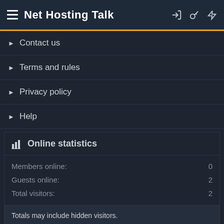Net Hosting Talk
Contact us
Terms and rules
Privacy policy
Help
Online statistics
| Stat | Value |
| --- | --- |
| Members online: | 0 |
| Guests online: | 2 |
| Total visitors: | 2 |
Totals may include hidden visitors.
Community platform by XenForo® © 2010-2022 XenForo Ltd.